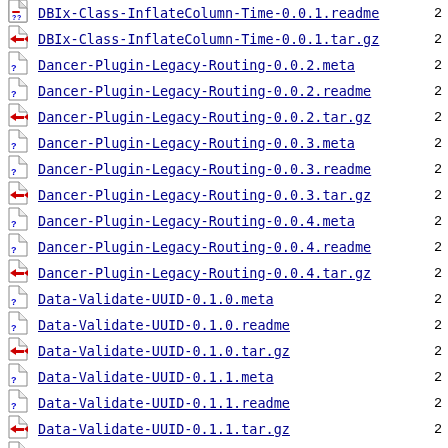DBIx-Class-InflateColumn-Time-0.0.1.readme
DBIx-Class-InflateColumn-Time-0.0.1.tar.gz
Dancer-Plugin-Legacy-Routing-0.0.2.meta
Dancer-Plugin-Legacy-Routing-0.0.2.readme
Dancer-Plugin-Legacy-Routing-0.0.2.tar.gz
Dancer-Plugin-Legacy-Routing-0.0.3.meta
Dancer-Plugin-Legacy-Routing-0.0.3.readme
Dancer-Plugin-Legacy-Routing-0.0.3.tar.gz
Dancer-Plugin-Legacy-Routing-0.0.4.meta
Dancer-Plugin-Legacy-Routing-0.0.4.readme
Dancer-Plugin-Legacy-Routing-0.0.4.tar.gz
Data-Validate-UUID-0.1.0.meta
Data-Validate-UUID-0.1.0.readme
Data-Validate-UUID-0.1.0.tar.gz
Data-Validate-UUID-0.1.1.meta
Data-Validate-UUID-0.1.1.readme
Data-Validate-UUID-0.1.1.tar.gz
Game-WordBrain-0.1.0.meta